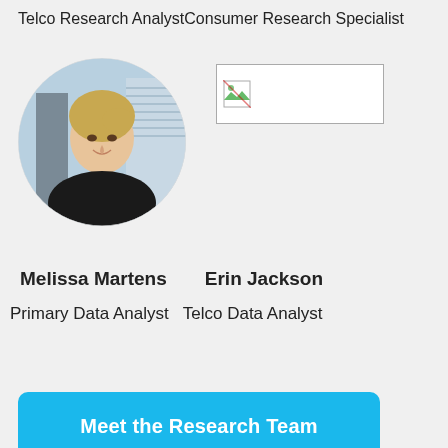Telco Research AnalystConsumer Research Specialist
[Figure (photo): Circular portrait photo of Melissa Martens, a blonde woman smiling, wearing a black top, with a city background]
[Figure (photo): Broken/placeholder image for Erin Jackson]
Melissa Martens
Erin Jackson
Primary Data Analyst
Telco Data Analyst
Meet the Research Team